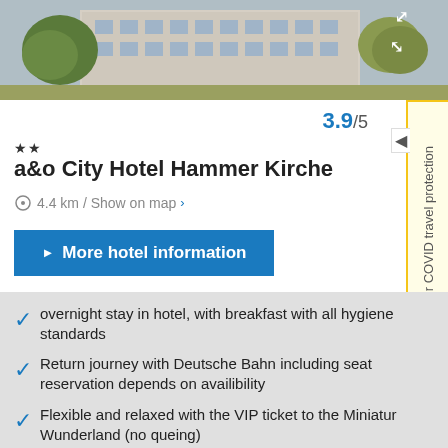[Figure (photo): Photo of a&o City Hotel Hammer Kirche exterior, a modern building with trees in front]
3.9/5
★★
a&o City Hotel Hammer Kirche
4.4 km / Show on map ›
▶ More hotel information
overnight stay in hotel, with breakfast with all hygiene standards
Return journey with Deutsche Bahn including seat reservation depends on availibility
Flexible and relaxed with the VIP ticket to the Miniatur Wunderland (no queing)
▶ Check offer
Your COVID travel protection